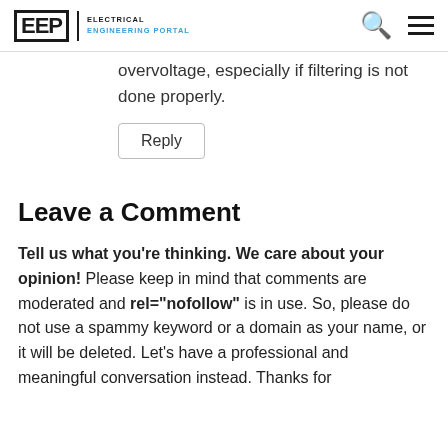EEP | ELECTRICAL ENGINEERING PORTAL
overvoltage, especially if filtering is not done properly.
Reply
Leave a Comment
Tell us what you're thinking. We care about your opinion! Please keep in mind that comments are moderated and rel="nofollow" is in use. So, please do not use a spammy keyword or a domain as your name, or it will be deleted. Let's have a professional and meaningful conversation instead. Thanks for